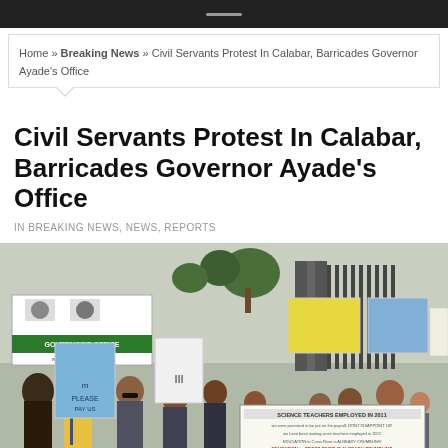Home » Breaking News » Civil Servants Protest In Calabar, Barricades Governor Ayade's Office
Civil Servants Protest In Calabar, Barricades Governor Ayade's Office
IN BREAKING NEWS, NEWS, REPORTS
[Figure (photo): Crowd of civil servants protesting outside the Cross River State Governor's Office in Calabar, holding placards and a banner reading 'SCIENCE TEACHERS EMPLOYED IN 2011' with various grievances listed. A green and white 'GOVERNOR'S OFFICE' sign is visible on the left.]